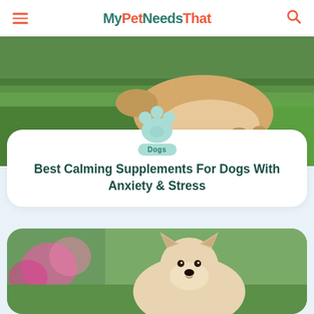MyPetNeedsThat
[Figure (photo): Dog sniffing grass outdoors, close-up of underbelly and legs]
Dogs
Best Calming Supplements For Dogs With Anxiety & Stress
[Figure (photo): Cute Akita puppy looking to the side with pink flowers in background]